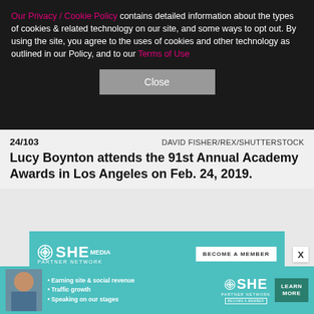Our Privacy / Cookie Policy contains detailed information about the types of cookies & related technology on our site, and some ways to opt out. By using the site, you agree to the uses of cookies and other technology as outlined in our Policy, and to our Terms of Use
Close
24/103    DAVID FISHER/REX/SHUTTERSTOCK
Lucy Boynton attends the 91st Annual Academy Awards in Los Angeles on Feb. 24, 2019.
[Figure (advertisement): SHE Media Partner Network advertisement with teal banner showing 'BECOME A MEMBER' button and a photo of a smiling woman with glasses]
[Figure (advertisement): Bottom banner ad for SHE Media Partner Network listing: Earning site & social revenue, Traffic growth, Speaking on our stages, with LEARN MORE button]